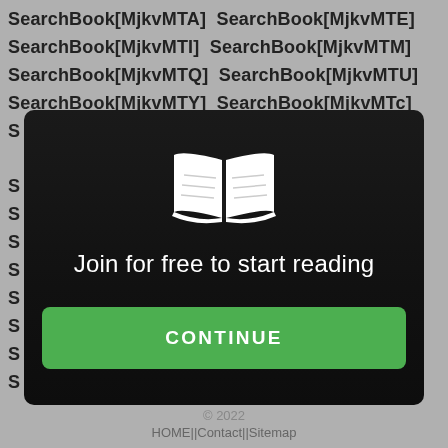SearchBook[MjkvMTA] SearchBook[MjkvMTE] SearchBook[MjkvMTI] SearchBook[MjkvMTM] SearchBook[MjkvMTQ] SearchBook[MjkvMTU] SearchBook[MjkvMTY] SearchBook[MjkvMTc]
[Figure (screenshot): Dark modal overlay with open book icon, 'Join for free to start reading' text, and a green CONTINUE button]
Join for free to start reading
CONTINUE
© 2022
HOME||Contact||Sitemap